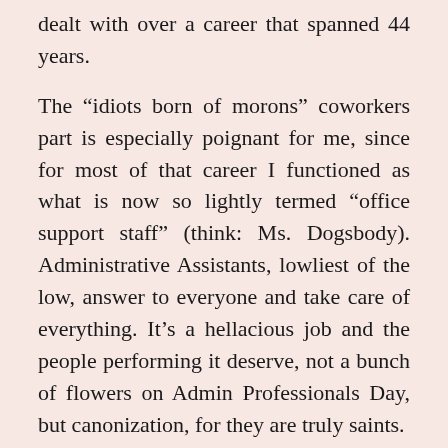dealt with over a career that spanned 44 years.
The “idiots born of morons” coworkers part is especially poignant for me, since for most of that career I functioned as what is now so lightly termed “office support staff” (think: Ms. Dogsbody). Administrative Assistants, lowliest of the low, answer to everyone and take care of everything. It’s a hellacious job and the people performing it deserve, not a bunch of flowers on Admin Professionals Day, but canonization, for they are truly saints.
Some moments of my career still stand out brightly illuminated in a haze of Darwin Awards-style imbecility. I recall the section